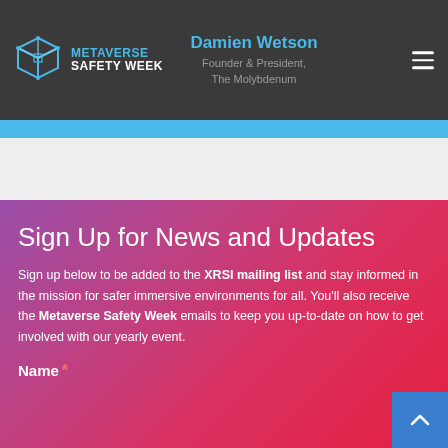Metaverse Safety Week — Damien Wetson, Founder & President, The Molybdenum
Sign Up for News and Updates
Sign up below to be added to the XRSI mailing list and stay informed in the mission for safer immersive environments for all. You'll also receive the Metaverse Safety Week emails to keep you up-to-date on how to get involved with our yearly event.
Name *